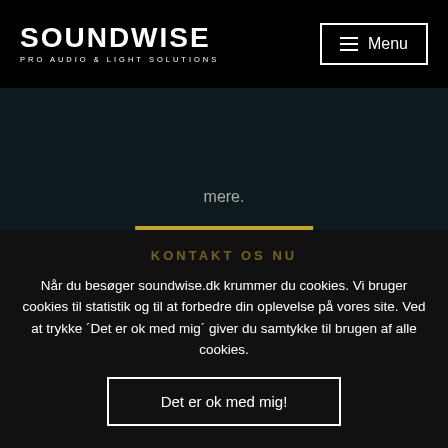[Figure (logo): Soundwise Pro Audio & Light Solutions logo in white on black background]
Menu
mere.
LÆS MERE
KONTAKT OS NU
Når du besøger soundwise.dk krummer du cookies. Vi bruger cookies til statistik og til at forbedre din oplevelse på vores site. Ved at trykke ´Det er ok med mig´ giver du samtykke til brugen af alle cookies.
Det er ok med mig!